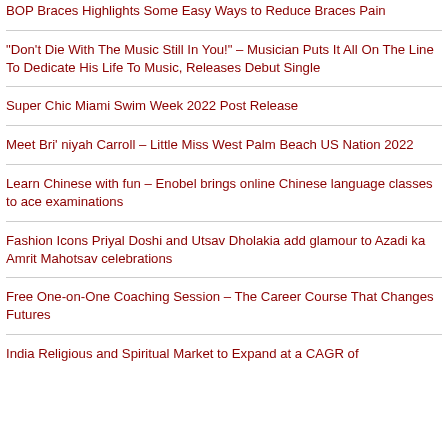BOP Braces Highlights Some Easy Ways to Reduce Braces Pain
"Don't Die With The Music Still In You!" – Musician Puts It All On The Line To Dedicate His Life To Music, Releases Debut Single
Super Chic Miami Swim Week 2022 Post Release
Meet Bri' niyah Carroll – Little Miss West Palm Beach US Nation 2022
Learn Chinese with fun – Enobel brings online Chinese language classes to ace examinations
Fashion Icons Priyal Doshi and Utsav Dholakia add glamour to Azadi ka Amrit Mahotsav celebrations
Free One-on-One Coaching Session – The Career Course That Changes Futures
India Religious and Spiritual Market to Expand at a CAGR of